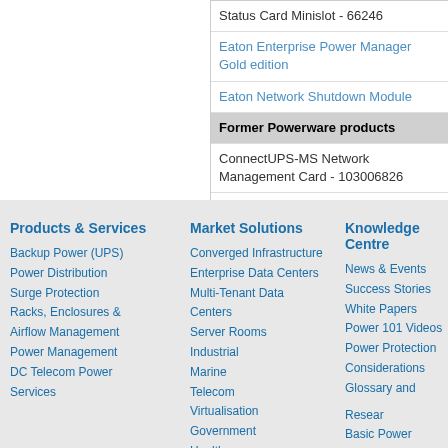Status Card Minislot - 66246
Eaton Enterprise Power Manager Gold edition
Eaton Network Shutdown Module
Former Powerware products
ConnectUPS-MS Network Management Card - 103006826
Eaton Serial/Status Management Card - 103006...
Products & Services
Backup Power (UPS)
Power Distribution
Surge Protection
Racks, Enclosures & Airflow Management
Power Management
DC Telecom Power
Services
Market Solutions
Converged Infrastructure
Enterprise Data Centers
Multi-Tenant Data Centers
Server Rooms
Industrial
Marine
Telecom
Virtualisation
Government
Healthcare
Knowledge Centre
News & Events
Success Stories
White Papers
Power 101 Videos
Power Protection Considerations
Glossary and Research
Basic Power Protection and UPS Elements
Technology Innovation